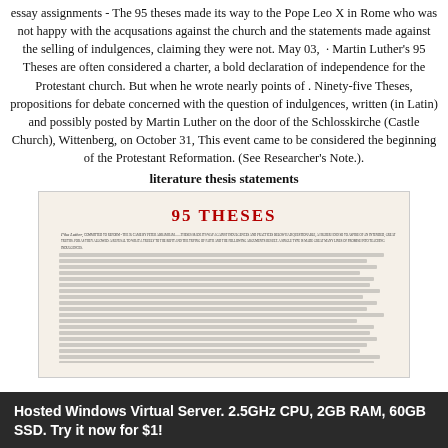essay assignments - The 95 theses made its way to the Pope Leo X in Rome who was not happy with the acqusations against the church and the statements made against the selling of indulgences, claiming they were not. May 03,  · Martin Luther's 95 Theses are often considered a charter, a bold declaration of independence for the Protestant church. But when he wrote nearly points of . Ninety-five Theses, propositions for debate concerned with the question of indulgences, written (in Latin) and possibly posted by Martin Luther on the door of the Schlosskirche (Castle Church), Wittenberg, on October 31, This event came to be considered the beginning of the Protestant Reformation. (See Researcher's Note.).
literature thesis statements
[Figure (photo): Photograph of the 95 Theses document with red title '95 THESES' at the top and handwritten/printed Latin text below]
Hosted Windows Virtual Server. 2.5GHz CPU, 2GB RAM, 60GB SSD. Try it now for $1!